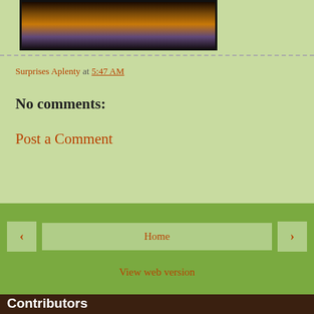[Figure (photo): Sunset landscape photo with dark foreground and orange/purple sky tones]
Surprises Aplenty at 5:47 AM
No comments:
Post a Comment
Home
View web version
Contributors
Surprises Aplenty
kwandongbrian
Powered by Blogger.